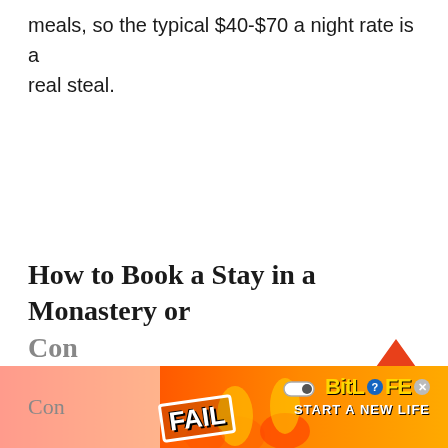meals, so the typical $40-$70 a night rate is a real steal.
[Figure (other): Red upward-pointing arrow icon used as a scroll-to-top button]
How to Book a Stay in a Monastery or Con
[Figure (other): Advertisement banner for BitLife mobile game with 'FAIL' text and 'START A NEW LIFE' tagline, overlaid on red/orange flame background]